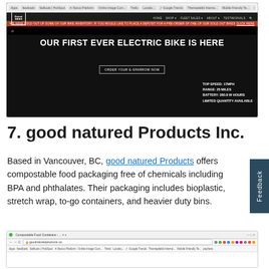[Figure (screenshot): Screenshot of Detroit Bikes website showing an electric bike hero image with text 'OUR FIRST EVER ELECTRIC BIKE IS HERE', a CTA button 'ORDER YOUR E-SPARROW NOW', and specs: TOP SPEED: 17MPH, RANGE: 25 MILES, BATTERY: 280.8 W HOURS, LIMITED QUANTITY AVAILABLE]
7. good natured Products Inc.
Based in Vancouver, BC, good natured Products offers compostable food packaging free of chemicals including BPA and phthalates. Their packaging includes bioplastic, stretch wrap, to-go containers, and heavier duty bins.
[Figure (screenshot): Partial screenshot of goodnaturedproducts.ca website showing browser chrome with URL bar and bookmarks toolbar]